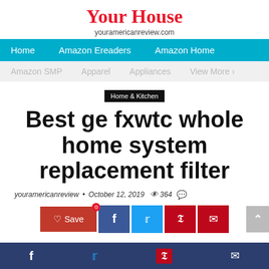Your House
youramericanreview.com
Home   Amazon Ereaders   Amazon Home
Amazon SMP   Apparel   Appliances   View More >
Home & Kitchen
Best ge fxwtc whole home system replacement filter
youramericanreview  •  October 12, 2019  👁 364  💬
Save  [Facebook]  [Twitter]  [Pinterest]  [Email]